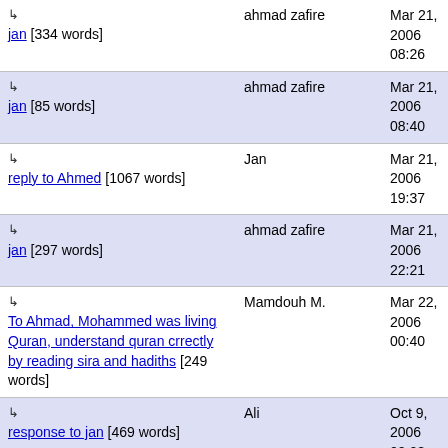| Topic/Link | Author | Date |
| --- | --- | --- |
| ↳ jan [334 words] | ahmad zafire | Mar 21, 2006 08:26 |
| ↳ jan [85 words] | ahmad zafire | Mar 21, 2006 08:40 |
| ↳ reply to Ahmed [1067 words] | Jan | Mar 21, 2006 19:37 |
| ↳ jan [297 words] | ahmad zafire | Mar 21, 2006 22:21 |
| ↳ To Ahmad, Mohammed was living Quran, understand quran crrectly by reading sira and hadiths [249 words] | Mamdouh M. | Mar 22, 2006 00:40 |
| ↳ response to jan [469 words] | Ali | Oct 9, 2006 02:08 |
Comment on this item
Name: